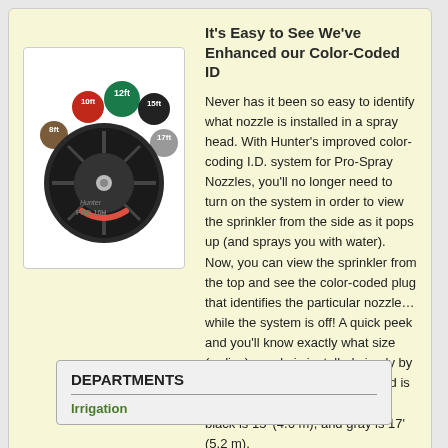It's Easy to See We've Enhanced our Color-Coded ID
[Figure (photo): Top view of Hunter Pro-Spray nozzle sprinkler head showing color-coded caps: brown 8ft, red 10ft, green 12ft, black 15ft, gray 17ft]
Never has it been so easy to identify what nozzle is installed in a spray head. With Hunter's improved color-coding I.D. system for Pro-Spray Nozzles, you'll no longer need to turn on the system in order to view the sprinkler from the side as it pops up (and sprays you with water). Now, you can view the sprinkler from the top and see the color-coded plug that identifies the particular nozzle…while the system is off! A quick peek and you'll know exactly what size (radius) nozzle is installed simply by its color – brown is 8' (2.4 m), red is 10' (3.0 m), green is 12' (3.7 m), black is 15' (4.6 m), and gray is 17' (5.2 m).
DEPARTMENTS
Irrigation